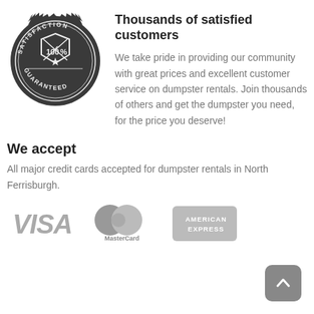[Figure (illustration): Satisfaction Guaranteed 100% badge/seal in dark grey with decorative gear-like border, shield shape with crossed items, star, and text SATISFACTION GUARANTEED 100%]
Thousands of satisfied customers
We take pride in providing our community with great prices and excellent customer service on dumpster rentals. Join thousands of others and get the dumpster you need, for the price you deserve!
We accept
All major credit cards accepted for dumpster rentals in North Ferrisburgh.
[Figure (logo): VISA logo in grey italic font]
[Figure (logo): MasterCard logo with two overlapping circles and MasterCard text]
[Figure (logo): American Express logo in grey rectangular badge]